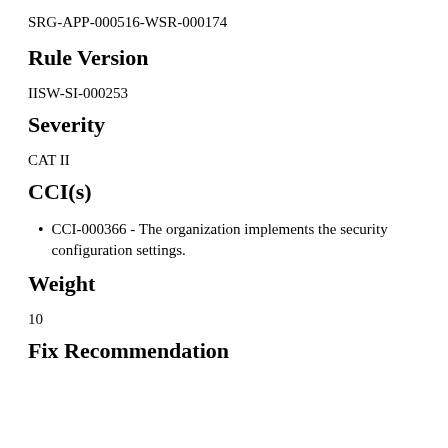SRG-APP-000516-WSR-000174
Rule Version
IISW-SI-000253
Severity
CAT II
CCI(s)
CCI-000366 - The organization implements the security configuration settings.
Weight
10
Fix Recommendation